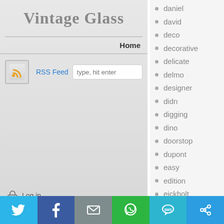Vintage Glass
Home
[Figure (infographic): RSS feed icon (orange wifi symbol on gray background)]
RSS Feed  type, hit enter
Log in
daniel
david
deco
decorative
delicate
delmo
designer
didn
digging
dino
doorstop
dupont
easy
edition
eickholt
enchanting
epoxy
estate
[Figure (infographic): Social share bar with Twitter, Facebook, Email, WhatsApp, SMS, and Share icons]